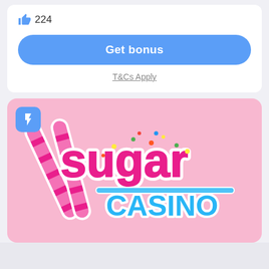[Figure (other): Thumbs up like icon in blue with count 224]
224
Get bonus
T&Cs Apply
[Figure (logo): Sugar Casino logo on pink background with candy sticks and lightning bolt badge]